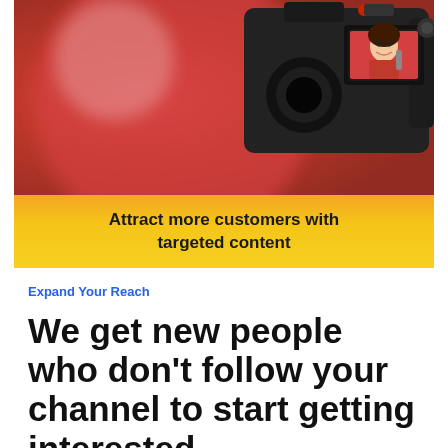[Figure (photo): A woman in red clothing filming herself with a DSLR camera for content creation. The camera screen shows her smiling and holding a makeup item. Below the photo is a yellow/gold gradient banner with bold text reading 'Attract more customers with targeted content'.]
Expand Your Reach
We get new people who don't follow your channel to start getting interested